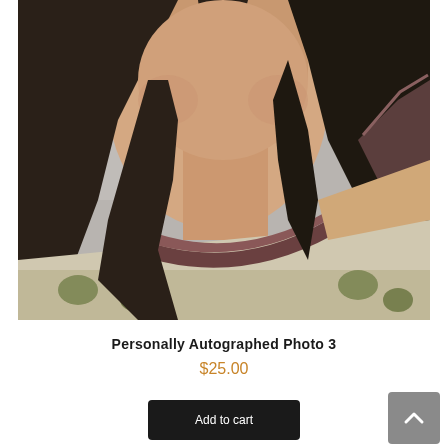[Figure (photo): Close-up photograph of a woman with long dark hair wearing a patterned top with decorative neckline detail. The photo shows her from approximately the shoulders up, cropped near the top of the frame.]
Personally Autographed Photo 3
$25.00